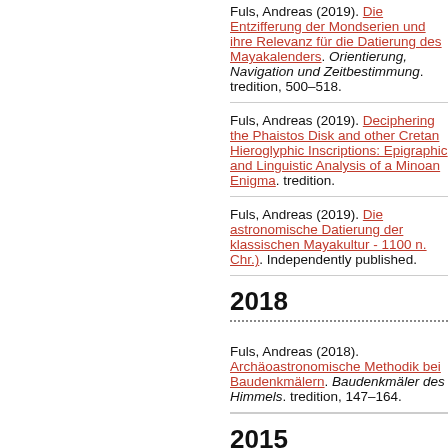Fuls, Andreas (2019). Die Entzifferung der Mondserien und ihre Relevanz für die Datierung des Mayakalenders. Orientierung, Navigation und Zeitbestimmung. tredition, 500–518.
Fuls, Andreas (2019). Deciphering the Phaistos Disk and other Cretan Hieroglyphic Inscriptions: Epigraphic and Linguistic Analysis of a Minoan Enigma. tredition.
Fuls, Andreas (2019). Die astronomische Datierung der klassischen Mayakultur - 1100 n. Chr.). Independently published.
2018
Fuls, Andreas (2018). Archäoastronomische Methodik bei Baudenkmälern. Baudenkmäler des Himmels. tredition, 147–164.
2015